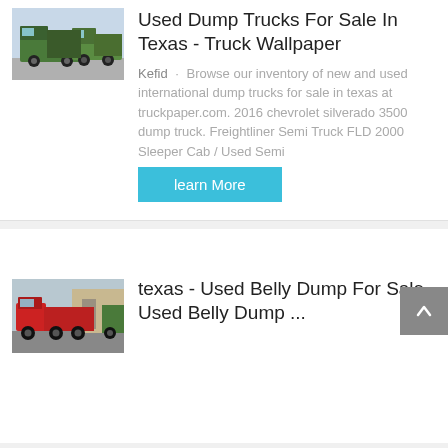[Figure (photo): Green dump trucks parked in a lot]
Used Dump Trucks For Sale In Texas - Truck Wallpaper
Kefid · Browse our inventory of new and used international dump trucks for sale in texas at truckpaper.com. 2016 chevrolet silverado 3500 dump truck. Freightliner Semi Truck FLD 2000 Sleeper Cab / Used Semi
learn More
[Figure (photo): Red and green dump trucks parked on a street]
texas - Used Belly Dump For Sale - Used Belly Dump ...